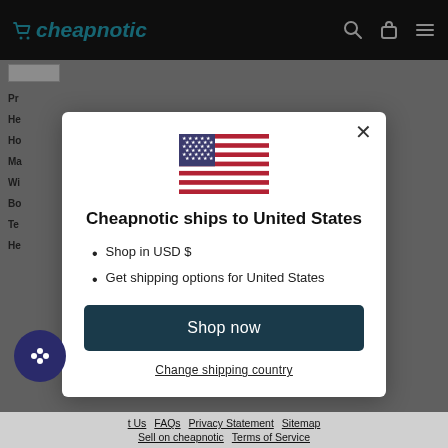[Figure (screenshot): Cheapnotic e-commerce website with a modal dialog showing shipping country selection for United States]
Cheapnotic ships to United States
Shop in USD $
Get shipping options for United States
Shop now
Change shipping country
t Us  FAQs  Privacy Statement  Sitemap  Sell on cheapnotic  Terms of Service